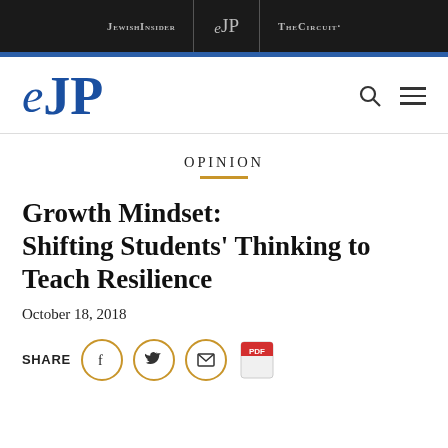JEWISHINSIDER | eJP | THE CIRCUIT·
[Figure (logo): eJP logo in blue with search and menu icons]
OPINION
Growth Mindset: Shifting Students' Thinking to Teach Resilience
October 18, 2018
SHARE (Facebook) (Twitter) (Email) PDF